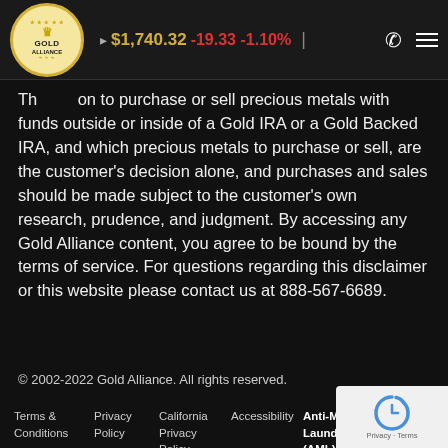$1,740.32 -19.33 -1.10%
The option to purchase or sell precious metals with funds outside or inside of a Gold IRA or a Gold Backed IRA, and which precious metals to purchase or sell, are the customer's decision alone, and purchases and sales should be made subject to the customer's own research, prudence, and judgment. By accessing any Gold Alliance content, you agree to be bound by the terms of service. For questions regarding this disclaimer or this website please contact us at 888-567-6689.
© 2002-2022 Gold Alliance. All rights reserved.
Terms & Conditions   Privacy Policy   California Privacy Policy   Accessibility   Anti-Money Laundering (AML) Program